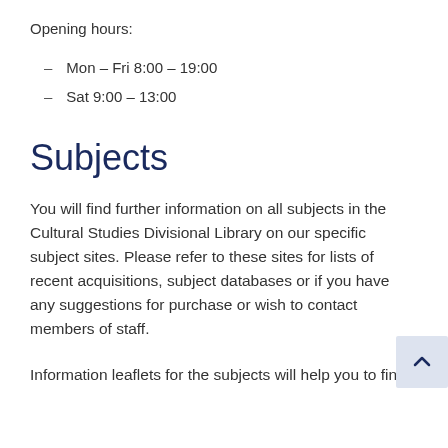Opening hours:
Mon – Fri 8:00 – 19:00
Sat 9:00 – 13:00
Subjects
You will find further information on all subjects in the Cultural Studies Divisional Library on our specific subject sites. Please refer to these sites for lists of recent acquisitions, subject databases or if you have any suggestions for purchase or wish to contact members of staff.
Information leaflets for the subjects will help you to find